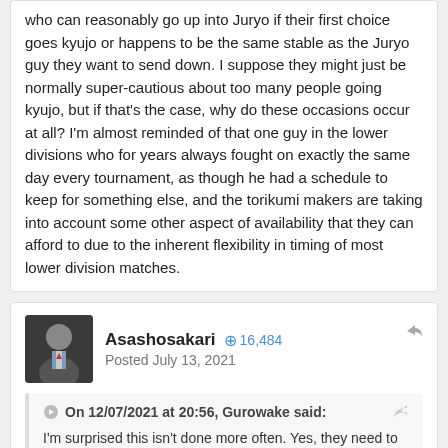who can reasonably go up into Juryo if their first choice goes kyujo or happens to be the same stable as the Juryo guy they want to send down. I suppose they might just be normally super-cautious about too many people going kyujo, but if that's the case, why do these occasions occur at all? I'm almost reminded of that one guy in the lower divisions who for years always fought on exactly the same day every tournament, as though he had a schedule to keep for something else, and the torikumi makers are taking into account some other aspect of availability that they can afford to due to the inherent flexibility in timing of most lower division matches.
Asashosakari  16,484
Posted July 13, 2021
On 12/07/2021 at 20:56, Gurowake said:
I'm surprised this isn't done more often. Yes, they need to have the guys who might go up into Juryo fight on the first day of the round, but I don't see why they need them all to. I would think the normal number arising from alternating matches would be